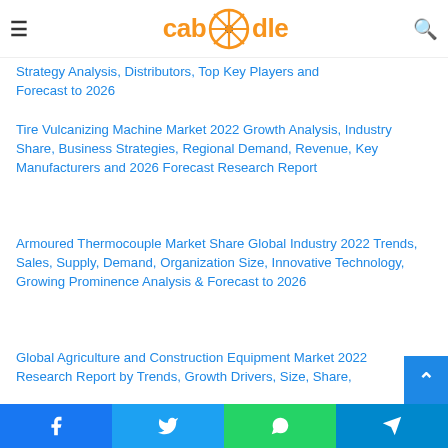caboodle - [hamburger menu] [search icon]
Strategy Analysis, Distributors, Top Key Players and Forecast to 2026
Tire Vulcanizing Machine Market 2022 Growth Analysis, Industry Share, Business Strategies, Regional Demand, Revenue, Key Manufacturers and 2026 Forecast Research Report
Armoured Thermocouple Market Share Global Industry 2022 Trends, Sales, Supply, Demand, Organization Size, Innovative Technology, Growing Prominence Analysis & Forecast to 2026
Global Agriculture and Construction Equipment Market 2022 Research Report by Trends, Growth Drivers, Size, Share,